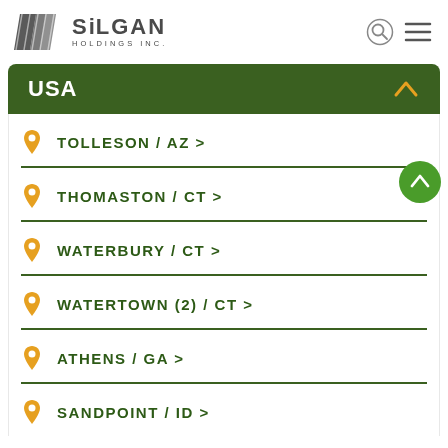[Figure (logo): Silgan Holdings Inc. logo with striped parallelogram icon and company name]
USA
TOLLESON / AZ >
THOMASTON / CT >
WATERBURY / CT >
WATERTOWN (2) / CT >
ATHENS / GA >
SANDPOINT / ID >